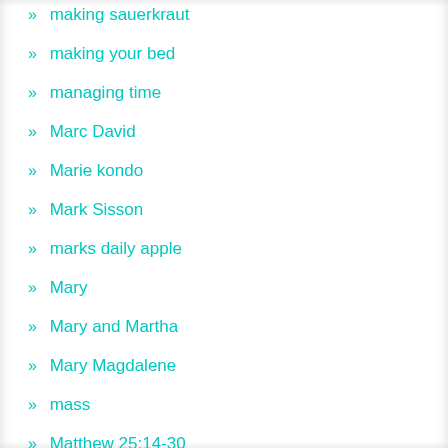» making sauerkraut
» making your bed
» managing time
» Marc David
» Marie kondo
» Mark Sisson
» marks daily apple
» Mary
» Mary and Martha
» Mary Magdalene
» mass
» Matthew 25:14-30
» meal mind set
» meatless
» meditate
» Meditation